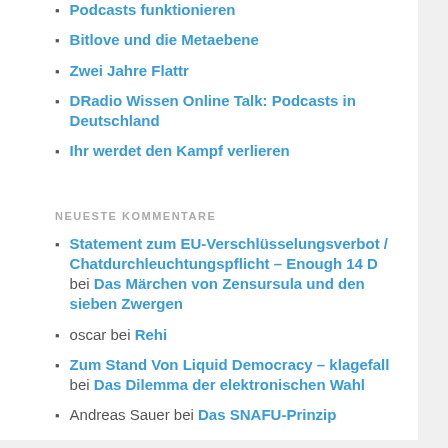Podcasts funktionieren
Bitlove und die Metaebene
Zwei Jahre Flattr
DRadio Wissen Online Talk: Podcasts in Deutschland
Ihr werdet den Kampf verlieren
NEUESTE KOMMENTARE
Statement zum EU-Verschlüsselungsverbot / Chatdurchleuchtungspflicht – Enough 14 D bei Das Märchen von Zensursula und den sieben Zwergen
oscar bei Rehi
Zum Stand Von Liquid Democracy – klagefall bei Das Dilemma der elektronischen Wahl
Andreas Sauer bei Das SNAFU-Prinzip
AndiKo bei TLF002 Universität der Künste
ARCHIVE
Monat auswählen